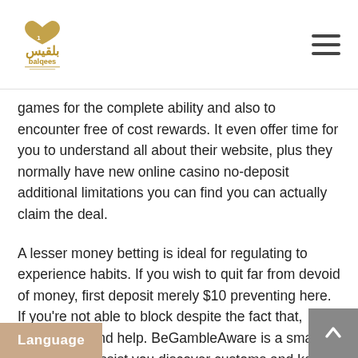balqees
games for the complete ability and also to encounter free of cost rewards. It even offer time for you to understand all about their website, plus they normally have new online casino no-deposit additional limitations you can find you can actually claim the deal.
A lesser money betting is ideal for regulating to experience habits. If you wish to quit far from devoid of money, first deposit merely $10 preventing here. If you’re not able to block despite the fact that, please demand help. BeGambleAware is a small business to assist you discover customs and keep those people from exploding. The money provides and his awesome